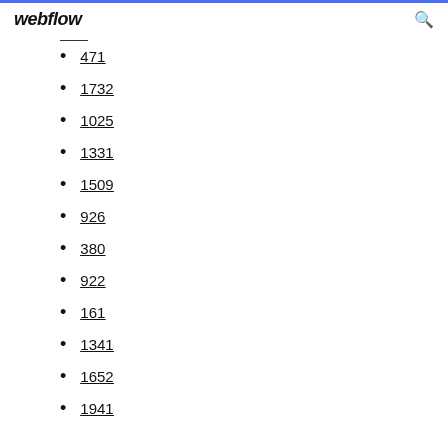webflow
471
1732
1025
1331
1509
926
380
922
161
1341
1652
1941